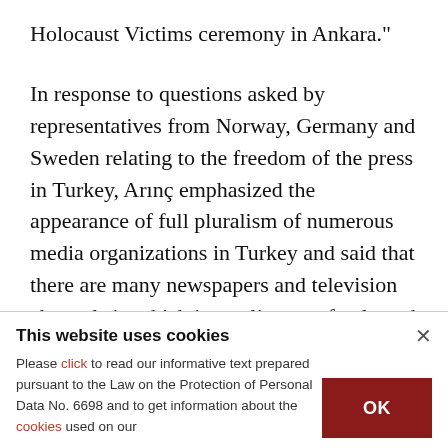Holocaust Victims ceremony in Ankara."

In response to questions asked by representatives from Norway, Germany and Sweden relating to the freedom of the press in Turkey, Arınç emphasized the appearance of full pluralism of numerous media organizations in Turkey and said that there are many newspapers and television channels in which journalists can freely and independently work. Arınç also said: "The media sector in Turkey
This website uses cookies
Please click to read our informative text prepared pursuant to the Law on the Protection of Personal Data No. 6698 and to get information about the cookies used on our